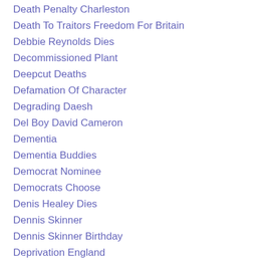Death Penalty Charleston
Death To Traitors Freedom For Britain
Debbie Reynolds Dies
Decommissioned Plant
Deepcut Deaths
Defamation Of Character
Degrading Daesh
Del Boy David Cameron
Dementia
Dementia Buddies
Democrat Nominee
Democrats Choose
Denis Healey Dies
Dennis Skinner
Dennis Skinner Birthday
Deprivation England